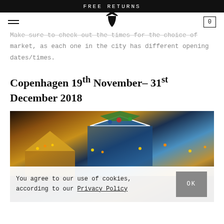FREE RETURNS
Make sure to check out the times for the choice of market, as each one in the city has different opening dates/times.
Copenhagen 19th November– 31st December 2018
[Figure (photo): Christmas market scene with colorful tents, carousel, and festive lights in Copenhagen]
You agree to our use of cookies, according to our Privacy Policy